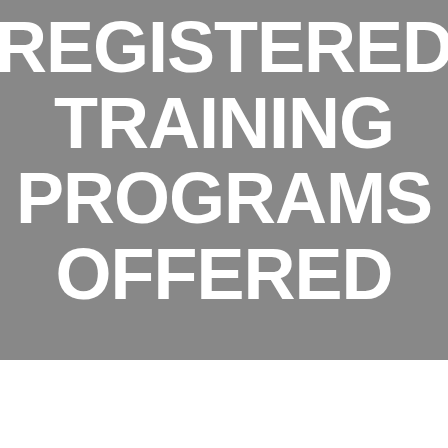REGISTERED TRAINING PROGRAMS OFFERED